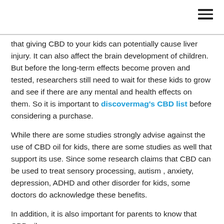that giving CBD to your kids can potentially cause liver injury. It can also affect the brain development of children.  But before the long-term effects become proven and tested, researchers still need to wait for these kids to grow and see if there are any mental and health effects on them. So it is important to discovermag's CBD list before considering a purchase.
While there are some studies strongly advise against the use of CBD oil for kids, there are some studies as well that support its use. Since some research claims that CBD can be used to treat sensory processing, autism , anxiety, depression, ADHD and other disorder for kids, some doctors do acknowledge these benefits.
In addition, it is also important for parents to know that CBD oil